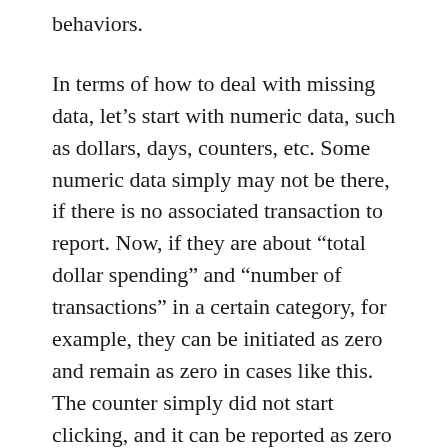behaviors.
In terms of how to deal with missing data, let’s start with numeric data, such as dollars, days, counters, etc. Some numeric data simply may not be there, if there is no associated transaction to report. Now, if they are about “total dollar spending” and “number of transactions” in a certain category, for example, they can be initiated as zero and remain as zero in cases like this. The counter simply did not start clicking, and it can be reported as zero if nothing happened.
Some numbers are incalculable, though. If you are calculating “Average Amount per Online